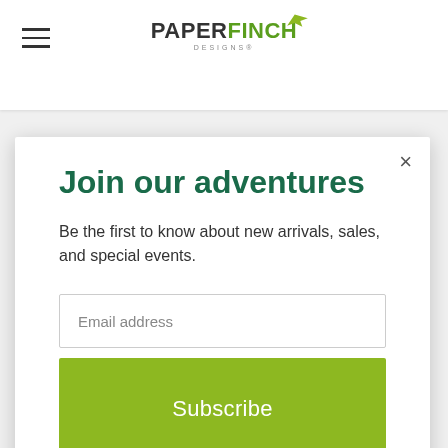PAPERFINCH DESIGNS
Join our adventures
Be the first to know about new arrivals, sales, and special events.
Email address
Subscribe
Paperfinch + our customers...
sittin' in a tree. K-I-S-S-I-N-G.